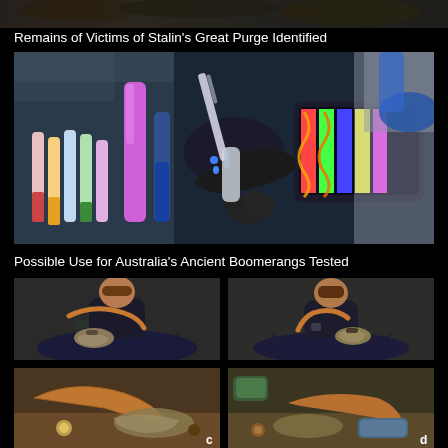[Figure (photo): Top cropped image of an outdoor scene with dark/nature background]
Remains of Victims of Stalin's Great Purge Identified
[Figure (photo): Laboratory scene with scientist in blue gloves using a pipette to drop liquid into a test tube, with a tablet showing DNA analysis in the background, and colorful test tubes on the left]
Possible Use for Australia's Ancient Boomerangs Tested
[Figure (photo): Four-panel photo grid: (a) person sitting cross-legged holding a boomerang and cloth, (b) similar person holding boomerang differently, (c) close-up of boomerang and materials, (d) another angle of boomerang and materials]